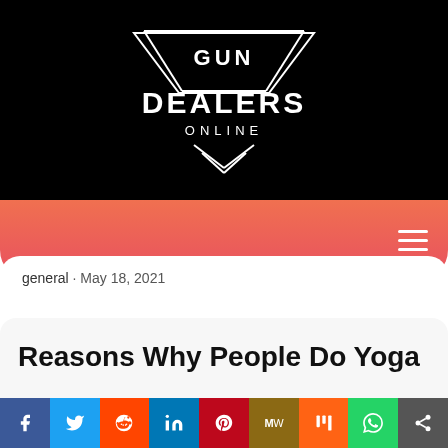[Figure (logo): Gun Dealers Online logo: white text on black background with geometric triangle/chevron shapes]
[Figure (other): Navigation bar with gradient orange-to-red background and hamburger menu icon on right]
general · May 18, 2021
Reasons Why People Do Yoga
[Figure (other): Social share bar with icons for Facebook, Twitter, Reddit, LinkedIn, Pinterest, MeWe, Mix, WhatsApp, and generic share]